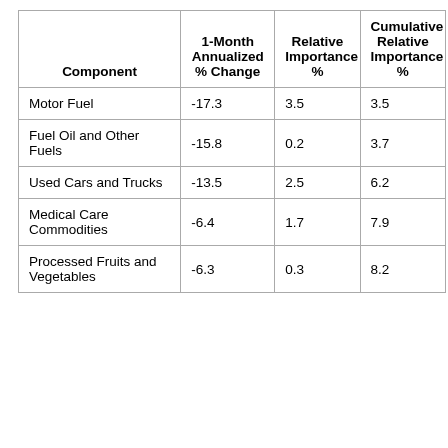| Component | 1-Month Annualized % Change | Relative Importance % | Cumulative Relative Importance % |
| --- | --- | --- | --- |
| Motor Fuel | -17.3 | 3.5 | 3.5 |
| Fuel Oil and Other Fuels | -15.8 | 0.2 | 3.7 |
| Used Cars and Trucks | -13.5 | 2.5 | 6.2 |
| Medical Care Commodities | -6.4 | 1.7 | 7.9 |
| Processed Fruits and Vegetables | -6.3 | 0.3 | 8.2 |